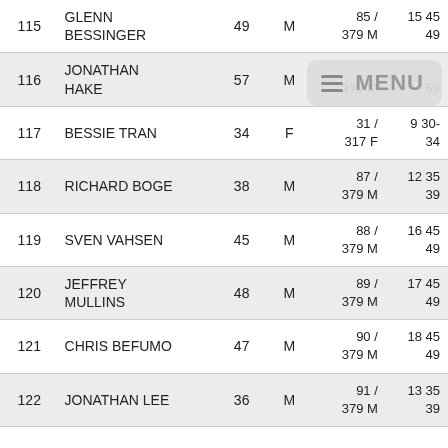| # | Name | Age | Sex | Place | Time |
| --- | --- | --- | --- | --- | --- |
| 115 | GLENN BESSINGER | 49 | M | 85 /
379 M | 15 45
49 |
| 116 | JONATHAN HAKE | 57 | M | 379 M | 59 |
| 117 | BESSIE TRAN | 34 | F | 31 /
317 F | 9 30-
34 |
| 118 | RICHARD BOGE | 38 | M | 87 /
379 M | 12 35
39 |
| 119 | SVEN VAHSEN | 45 | M | 88 /
379 M | 16 45
49 |
| 120 | JEFFREY MULLINS | 48 | M | 89 /
379 M | 17 45
49 |
| 121 | CHRIS BEFUMO | 47 | M | 90 /
379 M | 18 45
49 |
| 122 | JONATHAN LEE | 36 | M | 91 /
379 M | 13 35
39 |